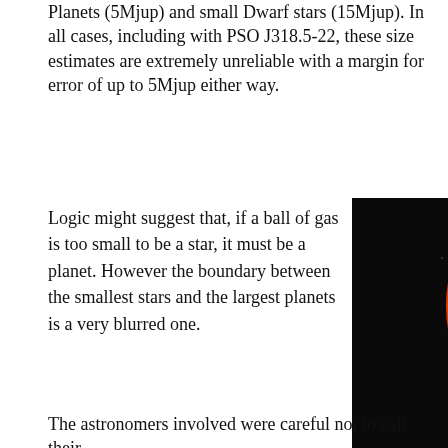Planets (5Mjup) and small Dwarf stars (15Mjup). In all cases, including with PSO J318.5-22, these size estimates are extremely unreliable with a margin for error of up to 5Mjup either way.
Logic might suggest that, if a ball of gas is too small to be a star, it must be a planet. However the boundary between the smallest stars and the largest planets is a very blurred one.
[Figure (illustration): Comparative size illustration of astronomical bodies from left to right: Sun (large orange sphere), Low-mass star (medium orange/brown body), Brown Dwarf (smaller striped body), Jupiter (banded gas giant), and Earth (small blue planet), all on a black background with labels.]
The astronomers involved were careful not to call their